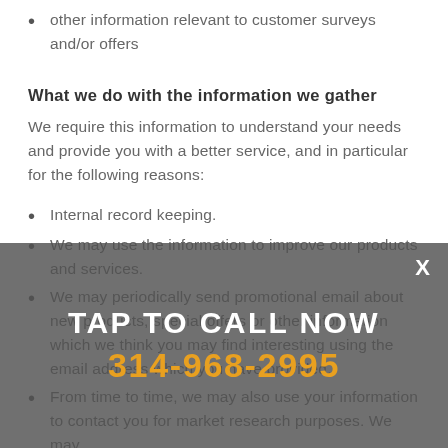other information relevant to customer surveys and/or offers
What we do with the information we gather
We require this information to understand your needs and provide you with a better service, and in particular for the following reasons:
Internal record keeping.
We may use the information to improve our products and services.
We may periodically send promotional email about new products, special offers or other information which we think you may find interesting using the email address which you have provided.
From time to time, we may also use your information to contact you for market research purposes. We may
[Figure (other): Tap to call now overlay with phone number 314-968-2995 and an X close button, on a dark semi-transparent background]